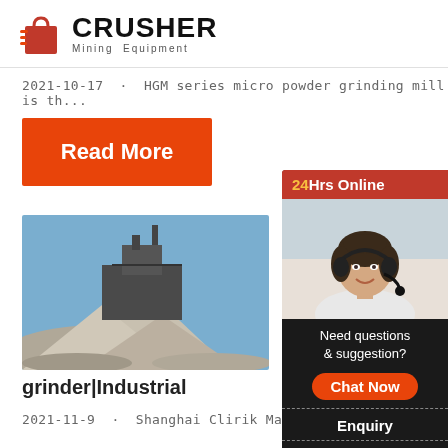[Figure (logo): Crusher Mining Equipment logo with red shopping bag icon and bold CRUSHER text]
2021-10-17 · HGM series micro powder grinding mill is th...
Read More
[Figure (photo): Mining equipment with crushed stone/gravel piles under blue sky]
Powder grinder mill|S... powder
grinder|Industrial
2021-11-9 · Shanghai Clirik Machinery Co., Lt...
[Figure (photo): Customer service representative with headset, 24Hrs Online sidebar with chat options, enquiry and email limingjlmofen@sina.com]